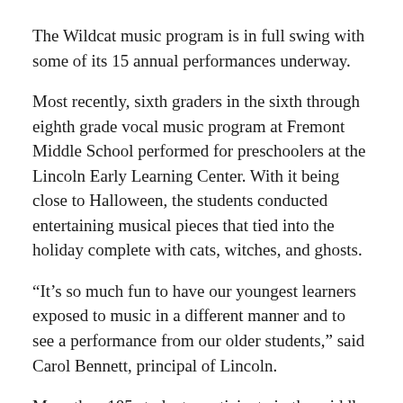The Wildcat music program is in full swing with some of its 15 annual performances underway.
Most recently, sixth graders in the sixth through eighth grade vocal music program at Fremont Middle School performed for preschoolers at the Lincoln Early Learning Center. With it being close to Halloween, the students conducted entertaining musical pieces that tied into the holiday complete with cats, witches, and ghosts.
“It’s so much fun to have our youngest learners exposed to music in a different manner and to see a performance from our older students,” said Carol Bennett, principal of Lincoln.
More than 185 students participate in the middle schools’ six choirs. Music Teacher Anna Karnick said the program’s mission is for “students to better understand and enjoy music through performance